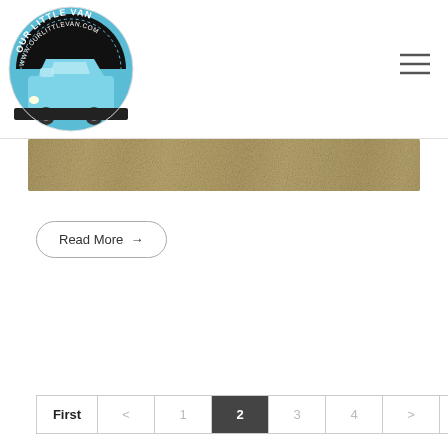[Figure (logo): Our Little Van logo — circular badge with blue van, text 'OUR LITTLE VAN' and 'WWW.OURLITTLEVAN.COM' on black arc background]
[Figure (illustration): Hamburger menu icon — three horizontal lines]
[Figure (photo): Horizontal texture/sand banner image in golden-brown tones]
Read More →
First < 1 2 3 4 > Last — pagination navigation, current page 2